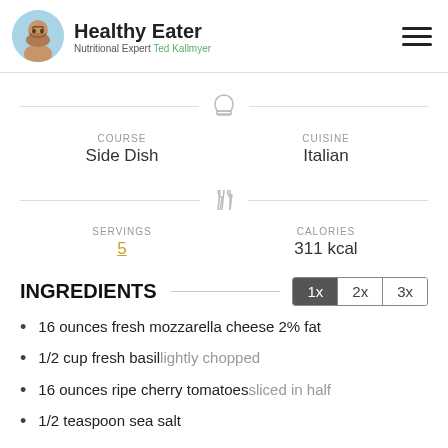Healthy Eater — Nutritional Expert Ted Kallmyer
COURSE: Side Dish | CUISINE: Italian
SERVINGS: 5 | CALORIES: 311 kcal
INGREDIENTS
16 ounces fresh mozzarella cheese 2% fat
1/2 cup fresh basil lightly chopped
16 ounces ripe cherry tomatoes sliced in half
1/2 teaspoon sea salt